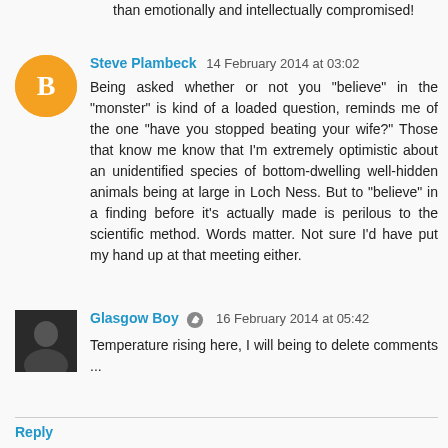than emotionally and intellectually compromised!
Steve Plambeck  14 February 2014 at 03:02
Being asked whether or not you "believe" in the "monster" is kind of a loaded question, reminds me of the one "have you stopped beating your wife?" Those that know me know that I'm extremely optimistic about an unidentified species of bottom-dwelling well-hidden animals being at large in Loch Ness. But to "believe" in a finding before it's actually made is perilous to the scientific method. Words matter. Not sure I'd have put my hand up at that meeting either.
Glasgow Boy  16 February 2014 at 05:42
Temperature rising here, I will being to delete comments ...
Reply